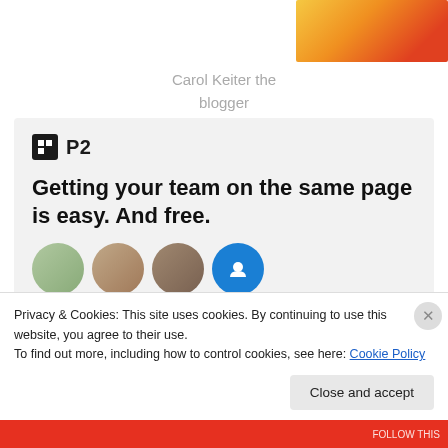[Figure (photo): Cropped top portion of a photo showing warm red/orange tones, appears to be a person in red clothing against yellow background]
Carol Keiter the blogger
[Figure (screenshot): P2 advertisement box with logo, tagline 'Getting your team on the same page is easy. And free.' and a row of user avatar circles]
Privacy & Cookies: This site uses cookies. By continuing to use this website, you agree to their use.
To find out more, including how to control cookies, see here: Cookie Policy
Close and accept